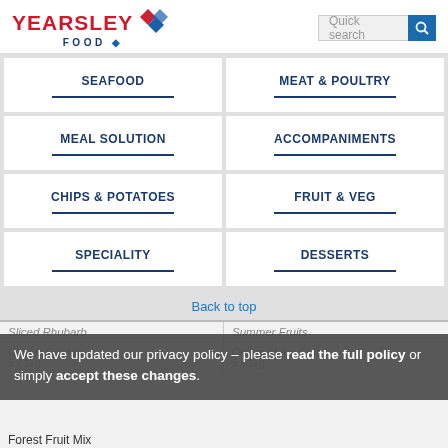YEARSLEY FOOD — Quick search
SEAFOOD
MEAT & POULTRY
MEAL SOLUTION
ACCOMPANIMENTS
CHIPS & POTATOES
FRUIT & VEG
SPECIALITY
DESSERTS
Back to top
Sliced Rhubarb
Summer Fruits
Golden Garden
5 x 1kg
Cream of the Crop
5 x 1kg
Forest Fruit Mix
We have updated our privacy policy – please read the full policy or simply accept these changes.